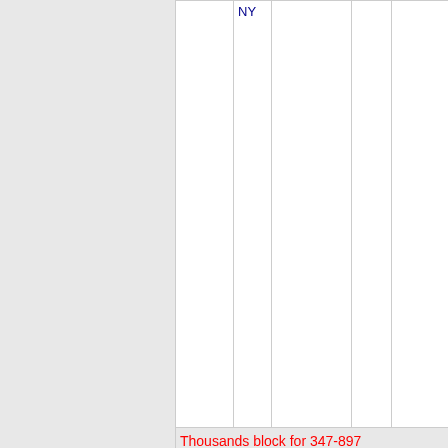| Number | State | Company | Code | OCN |
| --- | --- | --- | --- | --- |
|  | NY |  |  |  |
| Thousands block for 347-897 |  |  |  |  |
| 347-897-7 | NY | LOCAL ACCESS LLC - NY | 051H | NWYRCYZN |
| 347- | NY | LOCAL | 051H | NWYRCYZN |